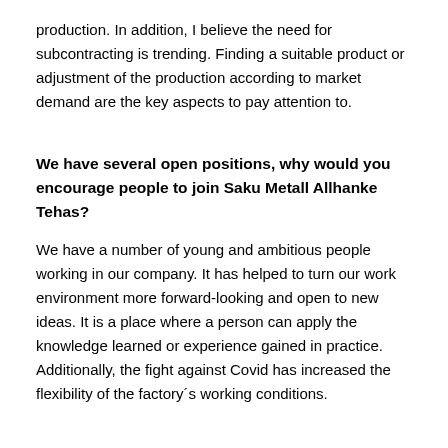production. In addition, I believe the need for subcontracting is trending. Finding a suitable product or adjustment of the production according to market demand are the key aspects to pay attention to.
We have several open positions, why would you encourage people to join Saku Metall Allhanke Tehas?
We have a number of young and ambitious people working in our company. It has helped to turn our work environment more forward-looking and open to new ideas. It is a place where a person can apply the knowledge learned or experience gained in practice. Additionally, the fight against Covid has increased the flexibility of the factory´s working conditions.